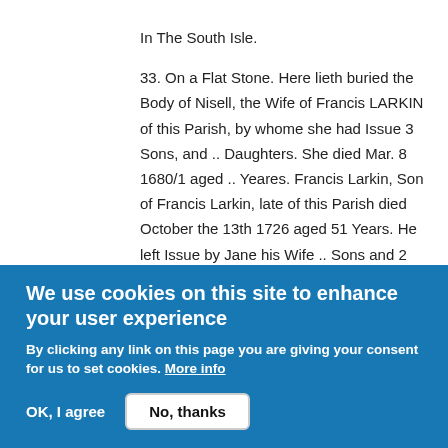In The South Isle.

33. On a Flat Stone. Here lieth buried the Body of Nisell, the Wife of Francis LARKIN of this Parish, by whome she had Issue 3 Sons, and .. Daughters. She died Mar. 8 1680/1 aged .. Yeares. Francis Larkin, Son of Francis Larkin, late of this Parish died October the 13th 1726 aged 51 Years. He left Issue by Jane his Wife .. Sons and 2 Daughters.

34. On Another Flat Stone. Here lieth The Body of Francis LARKIN, Son of Francis Larkin of this Parish, hee left Issue 1 Sonn and 3 Daughters. hee died Sept.
We use cookies on this site to enhance your user experience

By clicking any link on this page you are giving your consent for us to set cookies. More info

OK, I agree   No, thanks